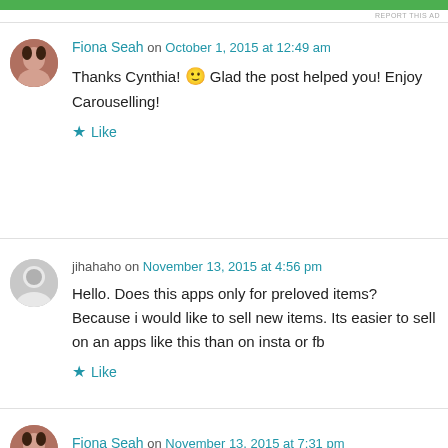REPORT THIS AD
Fiona Seah on October 1, 2015 at 12:49 am
Thanks Cynthia! 🙂 Glad the post helped you! Enjoy Carouselling!
Like
jihahaho on November 13, 2015 at 4:56 pm
Hello. Does this apps only for preloved items? Because i would like to sell new items. Its easier to sell on an apps like this than on insta or fb
Like
Fiona Seah on November 13, 2015 at 7:31 pm